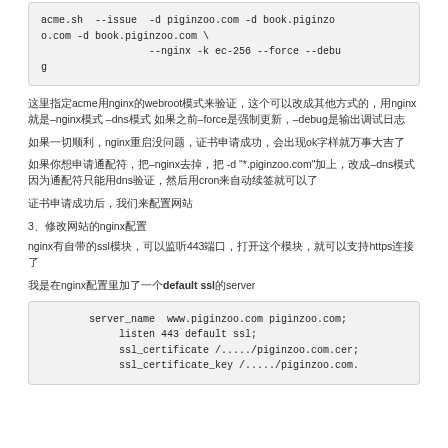acme.sh  --issue  -d piginzoo.com -d book.piginzoo.com -d book.piginzoo.com \
                  --nginx -k ec-256 --force --debug
这里指定acme用nginx的webroot模式来验证，这个可以改成其他方式的，用nginx就是–nginx模式 –dns模式 如果之前–force是强制更新，–debug是输出调试日志
如果一切顺利，nginx重启没问题，证书申请成功，会出现ok字样就万事大吉了
如果你想申请通配符，把–nginx去掉，把 -d "*.piginzoo.com"加上，改成–dns模式 因为通配符只能用dns验证，然后用cron来自动续签就可以了
证书申请成功后，我们来配置网站
3、修改网站的nginx配置
nginx有自带的ssl模块，可以监听443端口，打开这个模块，就可以支持https连接了
我是在nginx配置里加了一个default ssl的server
server_name  www.piginzoo.com piginzoo.com;
     listen 443 default ssl;
     ssl_certificate /...../piginzoo.com.cer;
     ssl_certificate_key /...../piginzoo.com.